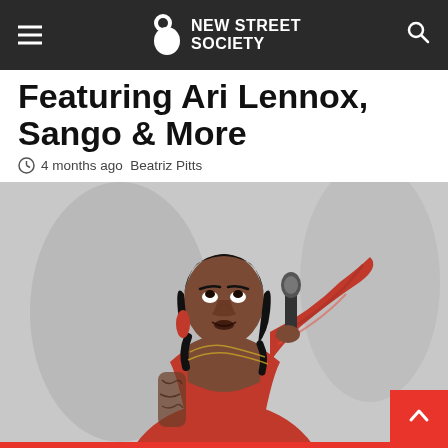NEW STREET SOCIETY
Featuring Ari Lennox, Sango & More
4 months ago  Beatriz Pitts
[Figure (photo): A female performer in a red bedazzled outfit holding a microphone, looking upward, with tattoos visible on her arm. Background is grey/neutral.]